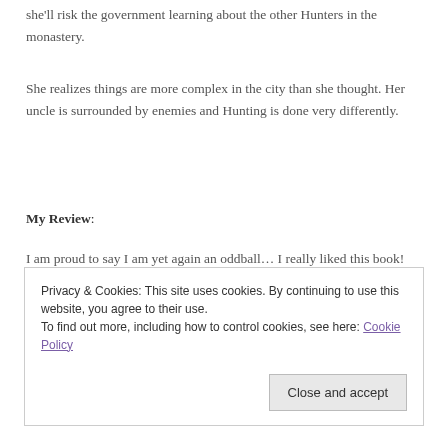she'll risk the government learning about the other Hunters in the monastery.
She realizes things are more complex in the city than she thought. Her uncle is surrounded by enemies and Hunting is done very differently.
My Review:
I am proud to say I am yet again an oddball… I really liked this book!
I've never read a book before that started so BAD but ended so GOOD!
Privacy & Cookies: This site uses cookies. By continuing to use this website, you agree to their use.
To find out more, including how to control cookies, see here: Cookie Policy